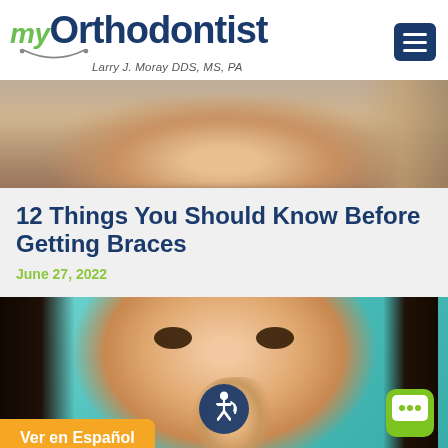myOrthodontist — Larry J. Moray DDS, MS, PA
[Figure (photo): Cropped photo of a woman's lower face showing chin and hair, blurred, neutral background]
12 Things You Should Know Before Getting Braces
June 27, 2022
[Figure (photo): Close-up photo of a young Asian woman looking upward with hand raised near face, teal/turquoise background. Accessibility icon badge and chat badge visible. 'Ver en Español' yellow button at bottom left.]